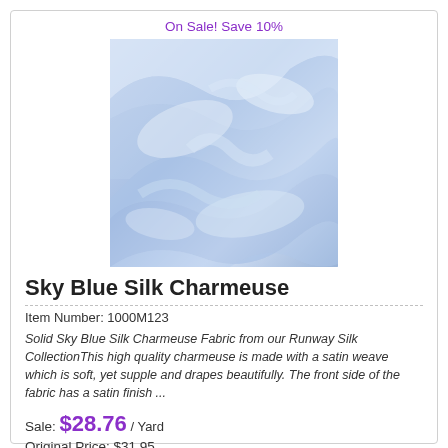On Sale! Save 10%
[Figure (photo): Sky blue silk charmeuse fabric with flowing satin folds and highlights]
Sky Blue Silk Charmeuse
Item Number: 1000M123
Solid Sky Blue Silk Charmeuse Fabric from our Runway Silk CollectionThis high quality charmeuse is made with a satin weave which is soft, yet supple and drapes beautifully. The front side of the fabric has a satin finish ...
Sale: $28.76 / Yard
Original Price: $31.95
You Save: $3.19